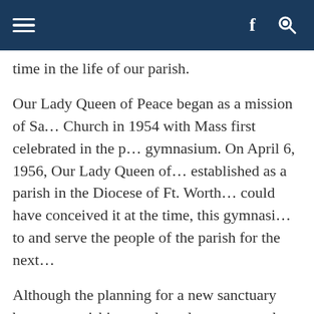Navigation bar with hamburger menu, Facebook icon, and search icon
time in the life of our parish.
Our Lady Queen of Peace began as a mission of Sa… Church in 1954 with Mass first celebrated in the p… gymnasium. On April 6, 1956, Our Lady Queen of … established as a parish in the Diocese of Ft. Worth… could have conceived it at the time, this gymnasi… to and serve the people of the parish for the next…
Although the planning for a new sanctuary began… parishioners elected to renovate the gymnasium… worship space. [Mass Times & Directions button] ou… Queen of Peace to focus resources on Catholic edu…